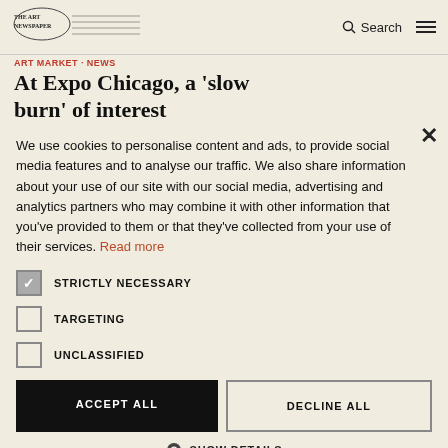The Art Newspaper — Search
ART MARKET · NEWS
At Expo Chicago, a 'slow burn' of interest
We use cookies to personalise content and ads, to provide social media features and to analyse our traffic. We also share information about your use of our site with our social media, advertising and analytics partners who may combine it with other information that you've provided to them or that they've collected from your use of their services. Read more
STRICTLY NECESSARY (checked)
TARGETING
UNCLASSIFIED
ACCEPT ALL
DECLINE ALL
SHOW DETAILS